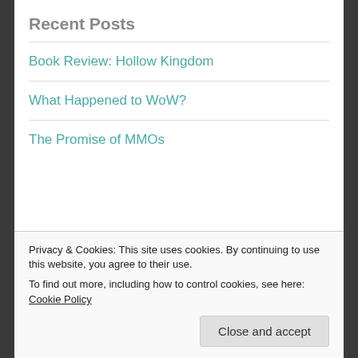Recent Posts
Book Review: Hollow Kingdom
What Happened to WoW?
The Promise of MMOs
[Figure (illustration): Badge/emblem with black shield-like shape and text 'Proud member of' with stars]
Privacy & Cookies: This site uses cookies. By continuing to use this website, you agree to their use.
To find out more, including how to control cookies, see here: Cookie Policy
Close and accept